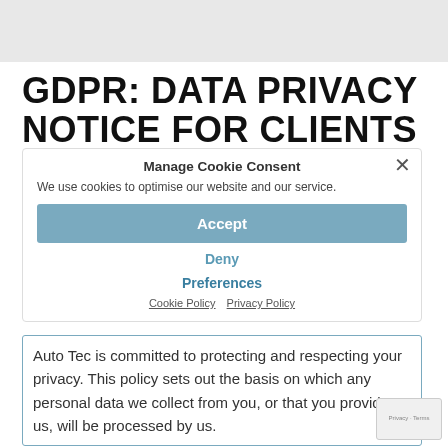GDPR: DATA PRIVACY NOTICE FOR CLIENTS AND SUPPLIERS
[Figure (screenshot): Cookie consent popup overlay with title 'Manage Cookie Consent', description 'We use cookies to optimise our website and our service.', Accept button, Deny button, Preferences button, Cookie Policy and Privacy Policy links, and a close (×) button.]
1. INTRODUCTION
Auto Tec is committed to protecting and respecting your privacy. This policy sets out the basis on which any personal data we collect from you, or that you provide to us, will be processed by us.